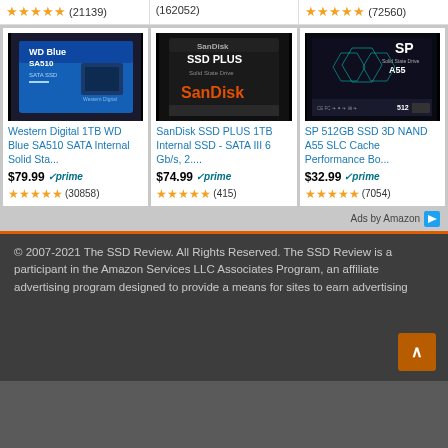★★★★★ (21139)
(162052)
★★★★★ (72560)
[Figure (photo): WD Blue SA510 SATA SSD product image on blue background]
[Figure (photo): SanDisk SSD PLUS product image on black background]
[Figure (photo): SP 512GB SSD 3D NAND A55 product image on dark background]
Western Digital 1TB WD Blue SA510 SATA Internal Solid Sta...
SanDisk SSD PLUS 1TB Internal SSD - SATA III 6 Gb/s, 2....
SP 512GB SSD 3D NAND A55 SLC Cache Performance Bo...
$79.99 ✓prime
$74.99 ✓prime
$32.99 ✓prime
★★★★★ (30858)
★★★★★ (415)
★★★★★ (7054)
Ads by Amazon
© 2007-2021 The SSD Review. All Rights Reserved. The SSD Review is a participant in the Amazon Services LLC Associates Program, an affiliate advertising program designed to provide a means for sites to earn advertising